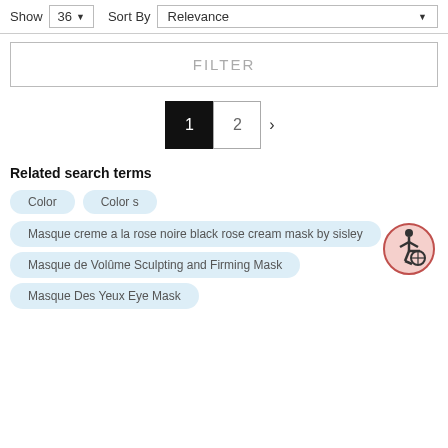Show 36 ▼   Sort By  Relevance ▼
FILTER
1  2  >
Related search terms
Color
Color s
Masque creme a la rose noire black rose cream mask by sisley
Masque de Volûme Sculpting and Firming Mask
Masque Des Yeux Eye Mask
[Figure (illustration): Accessibility icon: person in wheelchair, pink circle border]